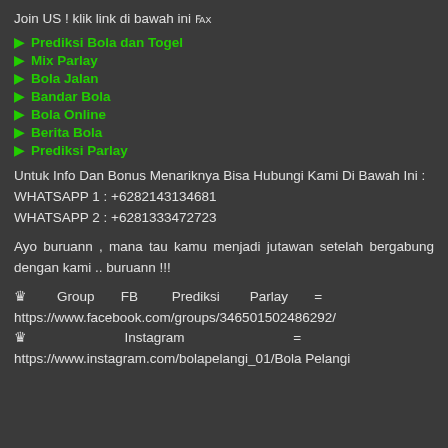Join US ! klik link di bawah ini 🖵
Prediksi Bola dan Togel
Mix Parlay
Bola Jalan
Bandar Bola
Bola Online
Berita Bola
Prediksi Parlay
Untuk Info Dan Bonus Menariknya Bisa Hubungi Kami Di Bawah Ini :
WHATSAPP 1 : +6282143134681
WHATSAPP 2 : +6281333472723
Ayo buruann , mana tau kamu menjadi jutawan setelah bergabung dengan kami .. buruann !!!
♛ Group FB Prediksi Parlay = https://www.facebook.com/groups/346501502486292/
♛ Instagram = https://www.instagram.com/bolapelangi_01/Bola Pelangi